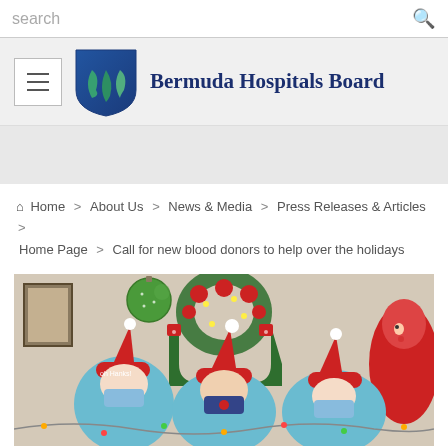search
[Figure (logo): Bermuda Hospitals Board shield logo with blue and green leaf design, with organization name 'Bermuda Hospitals Board' in dark blue serif font]
Home > About Us > News & Media > Press Releases & Articles > Home Page > Call for new blood donors to help over the holidays
[Figure (photo): Three healthcare workers wearing blue surgical masks and Santa hats pose in front of Christmas decorations including stockings, a wreath with red flowers, and hanging green globe ornaments. A red inflatable character is visible on the right.]